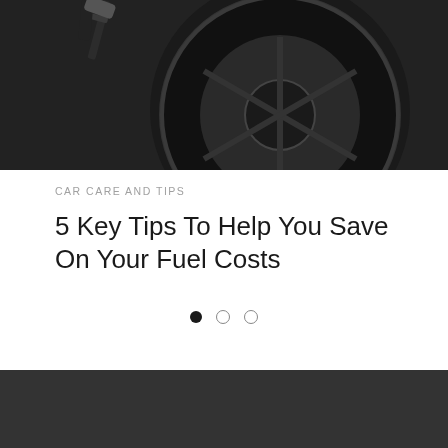[Figure (photo): Close-up photo of a car wheel/tyre with a fuel nozzle being inserted, dark background]
CAR CARE AND TIPS
5 Key Tips To Help You Save On Your Fuel Costs
[Figure (other): Carousel navigation dots: one filled black dot and two empty circle dots]
DIRECT GAP logo